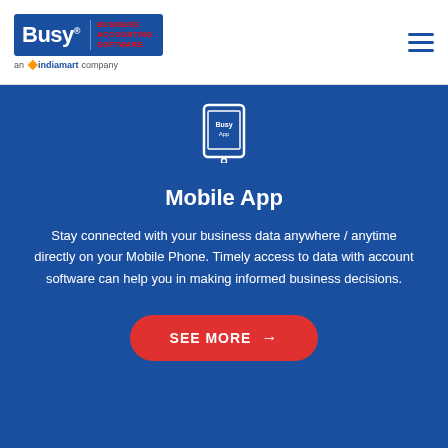[Figure (logo): Busy Business Accounting Software logo - blue box with Busy text and red subtitle text, below reads 'an indiamart company']
[Figure (illustration): Mobile phone/tablet icon with 'Busy App' text on screen]
Mobile App
Stay connected with your business data anywhere / anytime directly on your Mobile Phone. Timely access to data with account software can help you in making informed business decisions.
SEE MORE →